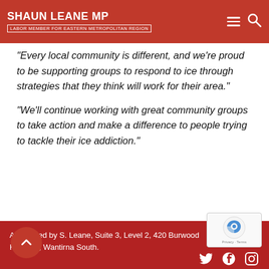SHAUN LEANE MP — LABOR MEMBER for EASTERN METROPOLITAN REGION
“Every local community is different, and we’re proud to be supporting groups to respond to ice through strategies that they think will work for their area.”
“We’ll continue working with great community groups to take action and make a difference to people trying to tackle their ice addiction.”
Authorised by S. Leane, Suite 3, Level 2, 420 Burwood Highway, Wantirna South.